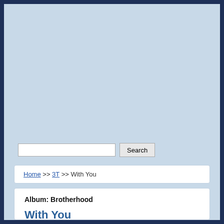Home >> 3T >> With You
Album: Brotherhood
With You